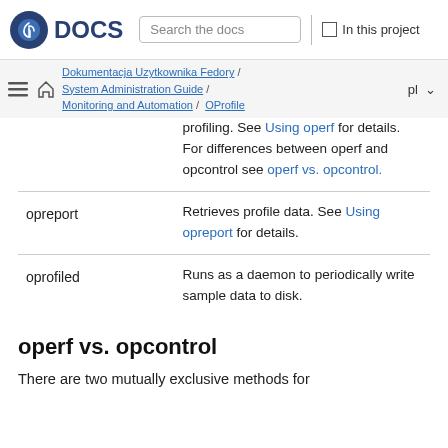Fedora DOCS | Search the docs | In this project
Dokumentacja Uzytkownika Fedory / System Administration Guide / Monitoring and Automation / OProfile | pl
| Command | Description |
| --- | --- |
|  | profiling. See Using operf for details. For differences between operf and opcontrol see operf vs. opcontrol. |
| opreport | Retrieves profile data. See Using opreport for details. |
| oprofiled | Runs as a daemon to periodically write sample data to disk. |
operf vs. opcontrol
There are two mutually exclusive methods for